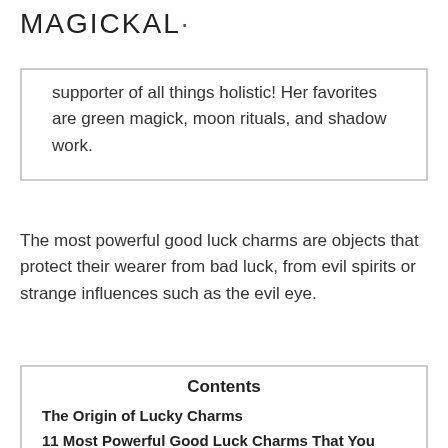Magickal·
supporter of all things holistic! Her favorites are green magick, moon rituals, and shadow work.
The most powerful good luck charms are objects that protect their wearer from bad luck, from evil spirits or strange influences such as the evil eye.
| Contents |
| --- |
| The Origin of Lucky Charms |
| 11 Most Powerful Good Luck Charms That You Can Buy |
| The Four Leaf Clover |
| The Horseshoe |
| The Tree of Life |